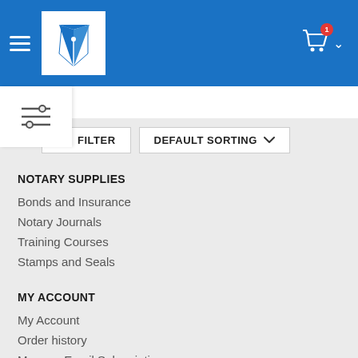[Figure (logo): Website header with blue background, hamburger menu icon, pen nib logo in white square, shopping cart icon with red badge showing '1', and a chevron dropdown]
[Figure (other): Sidebar filter icon with three horizontal lines and toggle knobs]
[Figure (other): Filter button with slider icon and Default Sorting dropdown button]
NOTARY SUPPLIES
Bonds and Insurance
Notary Journals
Training Courses
Stamps and Seals
MY ACCOUNT
My Account
Order history
Manage Email Subscription
Affiliate Area